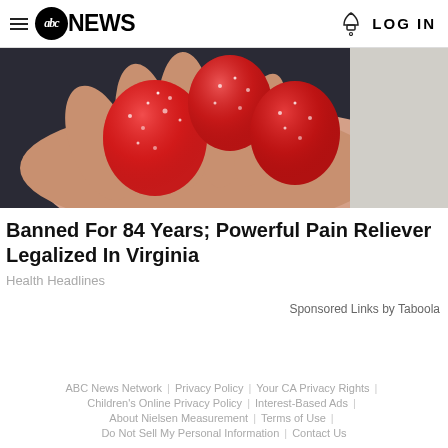≡ abc NEWS | LOG IN
[Figure (photo): A hand holding red sugary gummy bear candies against a dark background with white fur visible on the right side.]
Banned For 84 Years; Powerful Pain Reliever Legalized In Virginia
Health Headlines
Sponsored Links by Taboola
ABC News Network | Privacy Policy | Your CA Privacy Rights | Children's Online Privacy Policy | Interest-Based Ads | About Nielsen Measurement | Terms of Use | Do Not Sell My Personal Information | Contact Us